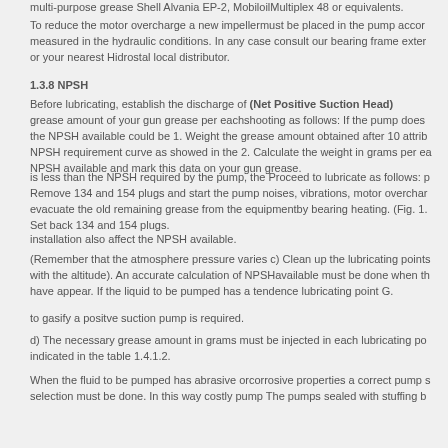multi-purpose grease Shell Alvania EP-2, MobiloilMultiplex 48 or equivalents.
To reduce the motor overcharge a new impellermust be placed in the pump according to measured in the hydraulic conditions. In any case consult our bearing frame extension or your nearest Hidrostal local distributor.
1.3.8 NPSH
Before lubricating, establish the discharge of (Net Positive Suction Head) grease amount of your gun grease per eachshooting as follows: If the pump does the NPSH available could be 1. Weight the grease amount obtained after 10 attrib NPSH requirement curve as showed in the 2. Calculate the weight in grams per e NPSH available and mark this data on your gun grease.
is less than the NPSH required by the pump, the Proceed to lubricate as follows: p Remove 134 and 154 plugs and start the pump noises, vibrations, motor overcha evacuate the old remaining grease from the equipmentby bearing heating. (Fig. 1. Set back 134 and 154 plugs.
installation also affect the NPSH available.
(Remember that the atmosphere pressure varies c) Clean up the lubricating points with the altitude). An accurate calculation of NPSHavailable must be done when t have appear. If the liquid to be pumped has a tendence lubricating point G.
to gasify a positve suction pump is required.
d) The necessary grease amount in grams must be injected in each lubricating po indicated in the table 1.4.1.2.
When the fluid to be pumped has abrasive orcorrosive properties a correct pump selection must be done. In this way costly pump The pumps sealed with stuffing b